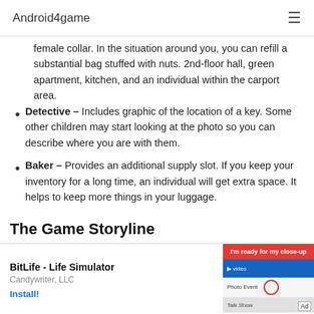Android4game
female collar. In the situation around you, you can refill a substantial bag stuffed with nuts. 2nd-floor hall, green apartment, kitchen, and an individual within the carport area.
Detective – Includes graphic of the location of a key. Some other children may start looking at the photo so you can describe where you are with them.
Baker – Provides an additional supply slot. If you keep your inventory for a long time, an individual will get extra space. It helps to keep more things in your luggage.
The Game Storyline
Nicky R…nd he
[Figure (screenshot): Advertisement banner for BitLife - Life Simulator by Candywriter, LLC with Install button and ad image]